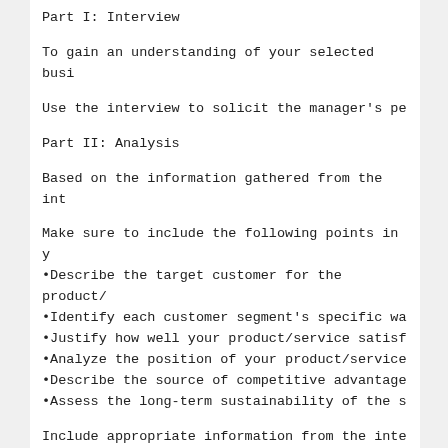Part I: Interview
To gain an understanding of your selected busi
Use the interview to solicit the manager's pe
Part II: Analysis
Based on the information gathered from the int
Make sure to include the following points in y
•Describe the target customer for the product/
•Identify each customer segment's specific wa
•Justify how well your product/service satisf
•Analyze the position of your product/service
•Describe the source of competitive advantage
•Assess the long-term sustainability of the s
Include appropriate information from the inte
Part III: Matrix
In comparing your product/service to that of t
•List the key customer wants or needs on the l
•List the competing products on the top horiz